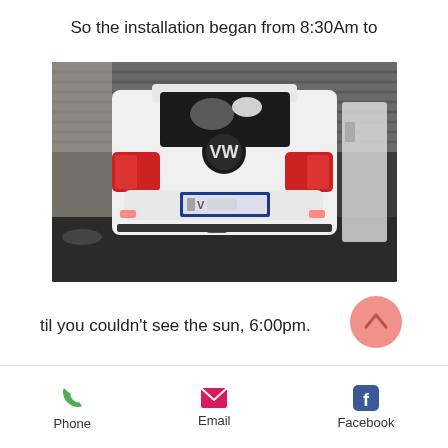So the installation began from 8:30Am to
[Figure (photo): Rear view of a white Volkswagen Polo hatchback parked in a garage/workshop with dark floor and corrugated metal roller door in background. The license plate is partially blurred. The car's tail lights are visible and a door is partially open on the right side.]
til you couldn't see the sun, 6:00pm.
Phone  Email  Facebook